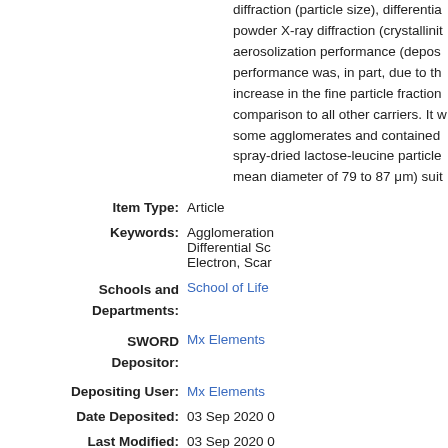diffraction (particle size), differentia powder X-ray diffraction (crystallinit aerosolization performance (depos performance was, in part, due to th increase in the fine particle fraction comparison to all other carriers. It w some agglomerates and contained spray-dried lactose-leucine particle mean diameter of 79 to 87 μm) suit
| Item Type: | Article |
| Keywords: | Agglomeration; Differential Scanning; Electron, Scan |
| Schools and Departments: | School of Life |
| SWORD Depositor: | Mx Elements |
| Depositing User: | Mx Elements |
| Date Deposited: | 03 Sep 2020 0 |
| Last Modified: | 03 Sep 2020 0 |